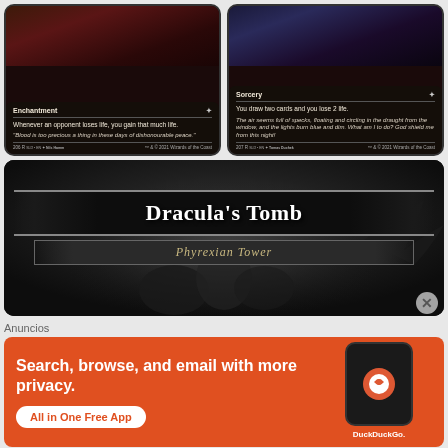[Figure (illustration): Two Magic: The Gathering cards side by side. Left card: Enchantment type. Text: 'Whenever an opponent loses life, you gain that much life.' Flavor text: 'Blood is too precious a thing in these days of dishonourable peace.' Card number 206, SLD EN, art by Nils Hamm. Right card: Sorcery type. Text: 'You draw two cards and you lose 2 life.' Flavor text: 'The air seems full of specks, floating and circling in the draught from the window, and the lights burn blue and dim. What am I to do? God shield me from this night!' Card number 207, SLD EN, art by Tomas Duchek.]
[Figure (illustration): Magic: The Gathering card art showing 'Dracula's Tomb' (alternate name for Phyrexian Tower). Dark gothic scene with shadowy figures. Card title banner shows 'Dracula's Tomb' in large white text, subtitle 'Phyrexian Tower' in gold italic text.]
Anuncios
[Figure (infographic): DuckDuckGo advertisement on orange background. Text: 'Search, browse, and email with more privacy.' Button: 'All in One Free App'. Shows a phone mockup with DuckDuckGo logo and 'DuckDuckGo.' text.]